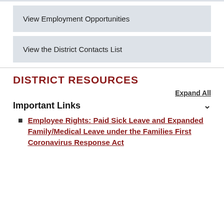View Employment Opportunities
View the District Contacts List
DISTRICT RESOURCES
Expand All
Important Links
Employee Rights: Paid Sick Leave and Expanded Family/Medical Leave under the Families First Coronavirus Response Act